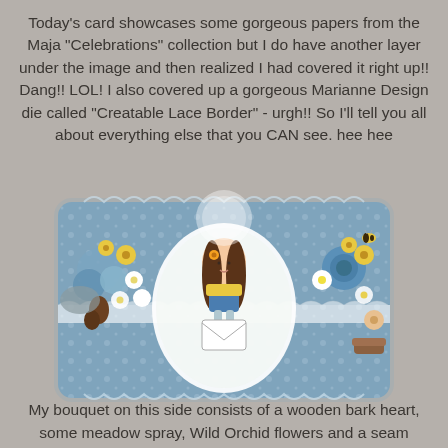Today's card showcases some gorgeous papers from the Maja "Celebrations" collection but I do have another layer under the image and then realized I had covered it right up!! Dang!!  LOL!  I also covered up a gorgeous Marianne Design die called "Creatable Lace Border" - urgh!!  So I'll tell you all about everything else that you CAN see.  hee hee
[Figure (photo): A decorative handmade greeting card featuring a Tilda-style girl doll image in the center, surrounded by flowers (blue, yellow, white), lace trim, and patterned paper with a blue floral design. The card has an ornate die-cut edge and is embellished with ribbons, pom poms, and floral arrangements.]
My bouquet on this side consists of a wooden bark heart, some meadow spray, Wild Orchid flowers and a seam